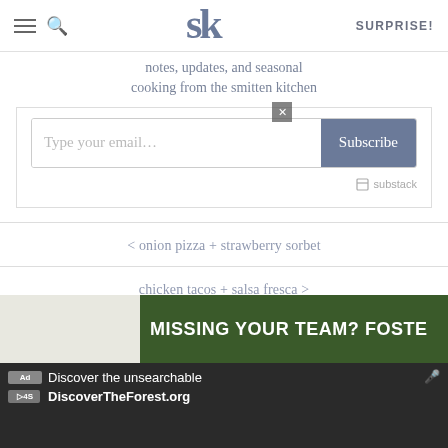SK logo | SURPRISE!
notes, updates, and seasonal cooking from the smitten kitchen
[Figure (screenshot): Email subscription form with 'Type your email...' input and 'Subscribe' button, with Substack badge]
< onion pizza + strawberry sorbet
chicken tacos + salsa fresca >
[Figure (screenshot): Ad banner: Discover the unsearchable / DiscoverTheForest.org with MISSING YOUR TEAM? FOSTER text visible, close button overlay]